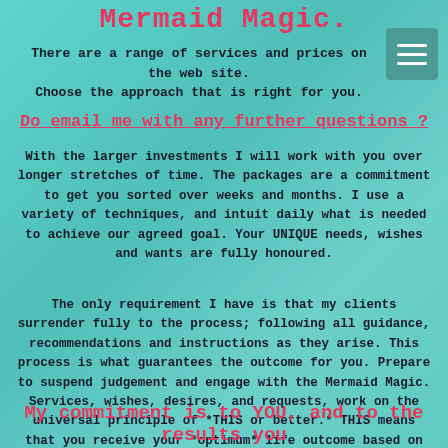Mermaid Magic.
There are a range of services and prices on the web site. Choose the approach that is right for you.
Do email me with any further questions ?
With the larger investments I will work with you over longer stretches of time. The packages are a commitment to get you sorted over weeks and months. I use a variety of techniques, and intuit daily what is needed to achieve our agreed goal. Your UNIQUE needs, wishes and wants are fully honoured.
The only requirement I have is that my clients surrender fully to the process; following all guidance, recommendations and instructions as they arise. This process is what guarantees the outcome for you. Prepare to suspend judgement and engage with the Mermaid Magic. Services, wishes, desires, and requests, work on the universal principle of *THIS or better.* THIS means that you receive your *optimum* life outcome based on the work we do together.
My commitment is to YOU, and to the results you